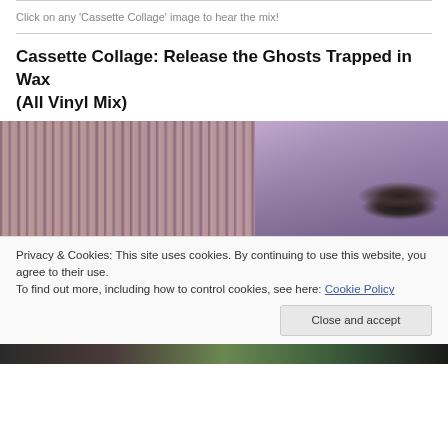Click on any 'Cassette Collage' image to hear the mix!
Cassette Collage: Release the Ghosts Trapped in Wax (All Vinyl Mix)
[Figure (photo): Purple-tinted photo of vinyl records standing upright in a crate on the left, and a turntable on the right, both bathed in violet/lavender light]
Privacy & Cookies: This site uses cookies. By continuing to use this website, you agree to their use.
To find out more, including how to control cookies, see here: Cookie Policy
Close and accept
[Figure (photo): Bottom strip of another image showing vinyl records and colorful elements]